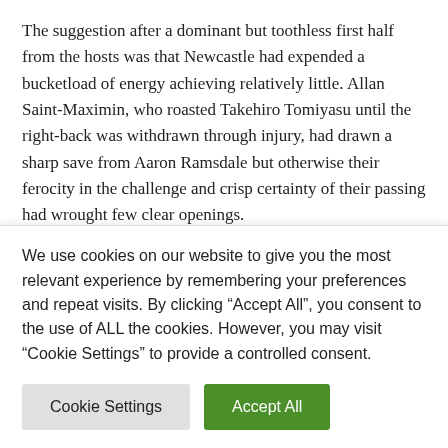The suggestion after a dominant but toothless first half from the hosts was that Newcastle had expended a bucketload of energy achieving relatively little. Allan Saint-Maximin, who roasted Takehiro Tomiyasu until the right-back was withdrawn through injury, had drawn a sharp save from Aaron Ramsdale but otherwise their ferocity in the challenge and crisp certainty of their passing had wrought few clear openings.
Perhaps Arsenal would gather themselves, take advantage of any lull in tempo and impose themselves during the second half. Bukayo Saka had attempted to enliven them
We use cookies on our website to give you the most relevant experience by remembering your preferences and repeat visits. By clicking “Accept All”, you consent to the use of ALL the cookies. However, you may visit "Cookie Settings" to provide a controlled consent.